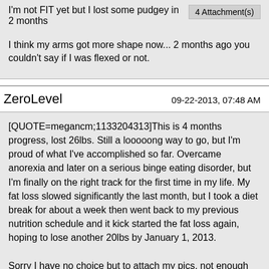I'm not FIT yet but I lost some pudgey in 2 months
4 Attachment(s)
I think my arms got more shape now... 2 months ago you couldn't say if I was flexed or not.
ZeroLevel
09-22-2013, 07:48 AM
[QUOTE=megancm;1133204313]This is 4 months progress, lost 26lbs. Still a looooong way to go, but I'm proud of what I've accomplished so far. Overcame anorexia and later on a serious binge eating disorder, but I'm finally on the right track for the first time in my life. My fat loss slowed significantly the last month, but I took a diet break for about a week then went back to my previous nutrition schedule and it kick started the fat loss again, hoping to lose another 20lbs by January 1, 2013.

Sorry I have no choice but to attach my pics, not enough posts lol.

Megan[/QUOTE]
Great job! That is excellent progress in 4 months.